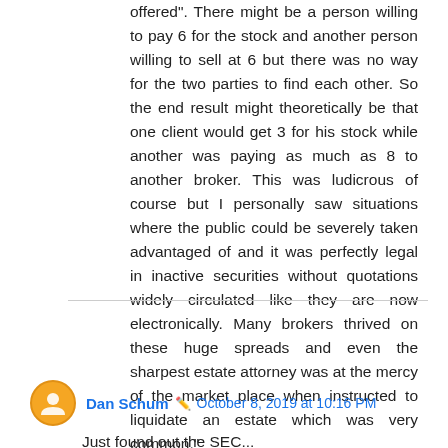offered". There might be a person willing to pay 6 for the stock and another person willing to sell at 6 but there was no way for the two parties to find each other. So the end result might theoretically be that one client would get 3 for his stock while another was paying as much as 8 to another broker. This was ludicrous of course but I personally saw situations where the public could be severely taken advantaged of and it was perfectly legal in inactive securities without quotations widely circulated like they are now electronically. Many brokers thrived on these huge spreads and even the sharpest estate attorney was at the mercy of the market place when instructed to liquidate an estate which was very common."
Reply
Dan Schum · October 8, 2019 at 10:16 PM
Just found out the SEC...